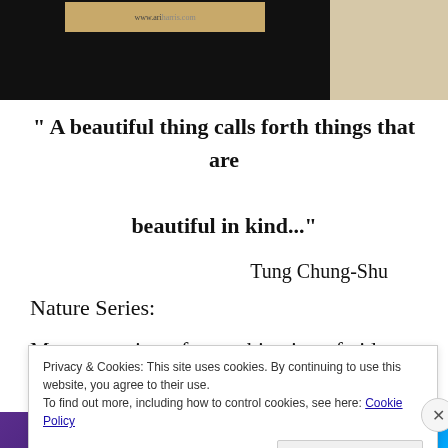[Figure (photo): Top image strip: left portion shows a dark/black background with a small tan/brown banner with website URL text, right portion shows a tan/beige background.]
" A beautiful thing calls forth things that are beautiful in kind..."
Tung Chung-Shu
Nature Series:
My art consists of a combination of video installations and paintings, which form an exploration of the sights and
Privacy & Cookies: This site uses cookies. By continuing to use this website, you agree to their use.
To find out more, including how to control cookies, see here: Cookie Policy
Close and accept
[Figure (photo): Bottom advertisement bar with purple/blue gradient background and white text.]